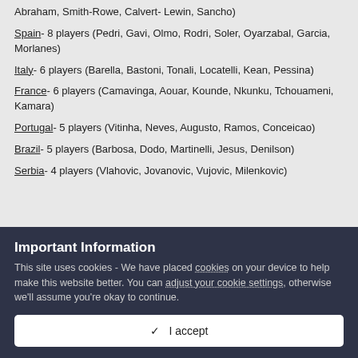Abraham, Smith-Rowe, Calvert-Lewin, Sancho)
Spain- 8 players (Pedri, Gavi, Olmo, Rodri, Soler, Oyarzabal, Garcia, Morlanes)
Italy- 6 players (Barella, Bastoni, Tonali, Locatelli, Kean, Pessina)
France- 6 players (Camavinga, Aouar, Kounde, Nkunku, Tchouameni, Kamara)
Portugal- 5 players (Vitinha, Neves, Augusto, Ramos, Conceicao)
Brazil- 5 players (Barbosa, Dodo, Martinelli, Jesus, Denilson)
Serbia- 4 players (Vlahovic, Jovanovic, Vujovic, Milenkovic)
Important Information
This site uses cookies - We have placed cookies on your device to help make this website better. You can adjust your cookie settings, otherwise we'll assume you're okay to continue.
✓  I accept